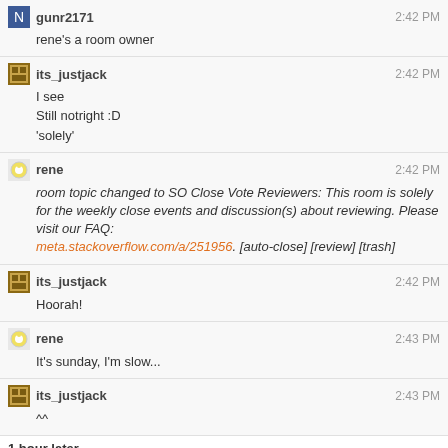gunr2171  2:42 PM
rene's a room owner
its_justjack  2:42 PM
I see
Still notright :D
'solely'
rene  2:42 PM
room topic changed to SO Close Vote Reviewers: This room is solely for the weekly close events and discussion(s) about reviewing. Please visit our FAQ: meta.stackoverflow.com/a/251956. [auto-close] [review] [trash]
its_justjack  2:42 PM
Hoorah!
rene  2:43 PM
It's sunday, I'm slow...
its_justjack  2:43 PM
^^
1 hour later...
rene  3:47 PM
→ 1 message moved to Trash
1 hour later...